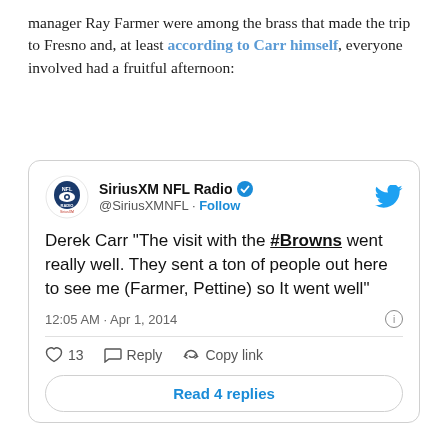manager Ray Farmer were among the brass that made the trip to Fresno and, at least according to Carr himself, everyone involved had a fruitful afternoon:
[Figure (screenshot): Embedded tweet from SiriusXM NFL Radio (@SiriusXMNFL) dated 12:05 AM · Apr 1, 2014. Tweet text: Derek Carr "The visit with the #Browns went really well. They sent a ton of people out here to see me (Farmer, Pettine) so It went well". Shows 13 likes, Reply, Copy link actions, and a 'Read 4 replies' button.]